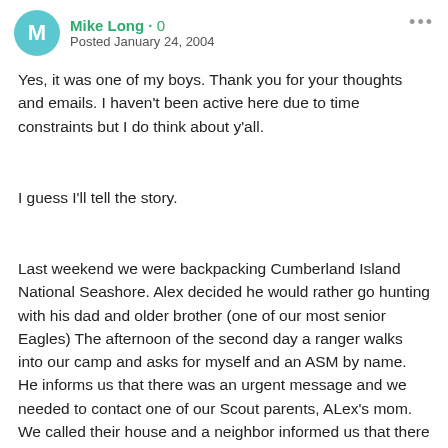Mike Long · Posted January 24, 2004
Yes, it was one of my boys. Thank you for your thoughts and emails. I haven't been active here due to time constraints but I do think about y'all.
I guess I'll tell the story.
Last weekend we were backpacking Cumberland Island National Seashore. Alex decided he would rather go hunting with his dad and older brother (one of our most senior Eagles) The afternoon of the second day a ranger walks into our camp and asks for myself and an ASM by name. He informs us that there was an urgent message and we needed to contact one of our Scout parents, ALex's mom. We called their house and a neighbor informed us that there was a very serious hunting accident and Alex had been shot. Come back as soon as you can.